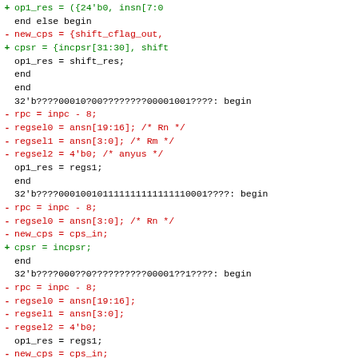Code diff showing Verilog/SystemVerilog source changes with added (+) and removed (-) lines, showing case statement branches with register select and operation result assignments.